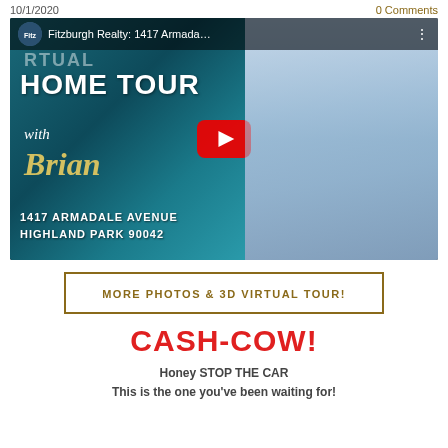10/1/2020   0 Comments
[Figure (screenshot): YouTube video thumbnail for Fitzburgh Realty virtual home tour at 1417 Armadale Avenue, Highland Park 90042, featuring host Brian with a play button overlay]
MORE PHOTOS & 3D VIRTUAL TOUR!
CASH-COW!
Honey STOP THE CAR
This is the one you've been waiting for!